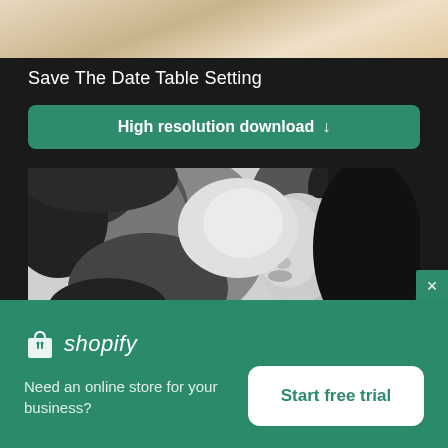[Figure (photo): Top portion of a table setting photo, showing soft beige/cream fabric or tablecloth]
Save The Date Table Setting
High resolution download ↓
[Figure (photo): Black and white close-up photo of a couple about to kiss, man on left, woman on right]
[Figure (logo): Shopify logo with shopping bag icon and italic shopify text, plus tagline 'Need an online store for your business?' and 'Start free trial' button]